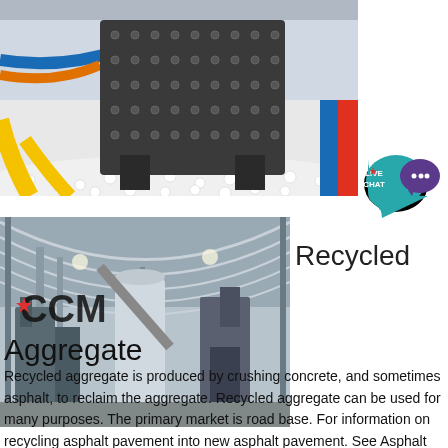[Figure (photo): Industrial crusher machine sitting on a bed of white aggregate pellets, with colorful conveyor elements visible in the background, inside a facility.]
[Figure (photo): Interior of a large industrial facility (labeled CCM) showing heavy milling or aggregate processing machinery under a large corrugated metal roof, with conveyors, silos, and industrial equipment.]
[Figure (other): Live Chat speech bubble icon in teal/purple with text LIVE CHAT]
Recycled Aggregate
Recycled aggregate is produced by crushing concrete, and sometimes asphalt, to reclaim the aggregate. Recycled aggregate can be used for many purposes. The primary market is road base. For information on recycling asphalt pavement into new asphalt pavement. See Asphalt Pavement Recycling.